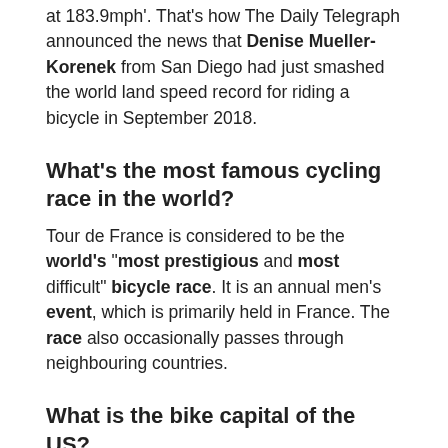at 183.9mph'. That's how The Daily Telegraph announced the news that Denise Mueller-Korenek from San Diego had just smashed the world land speed record for riding a bicycle in September 2018.
What's the most famous cycling race in the world?
Tour de France is considered to be the world's "most prestigious and most difficult" bicycle race. It is an annual men's event, which is primarily held in France. The race also occasionally passes through neighbouring countries.
What is the bike capital of the US?
Davis, Calif. Nicknamed "Bike City USA" and the "Bike Capital of America," Davis enjoys bike lanes on 95 percent of its arterial roadways, and a whopping 22